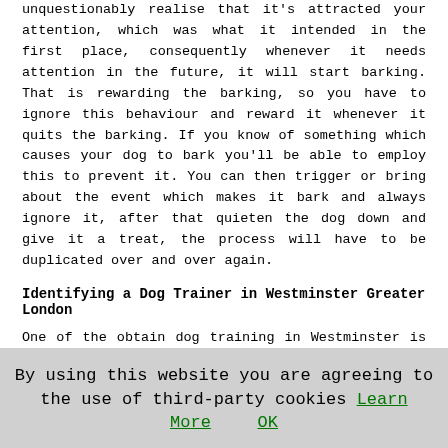unquestionably realise that it's attracted your attention, which was what it intended in the first place, consequently whenever it needs attention in the future, it will start barking. That is rewarding the barking, so you have to ignore this behaviour and reward it whenever it quits the barking. If you know of something which causes your dog to bark you'll be able to employ this to prevent it. You can then trigger or bring about the event which makes it bark and always ignore it, after that quieten the dog down and give it a treat, the process will have to be duplicated over and over again.
Identifying a Dog Trainer in Westminster Greater London
One of the obtain dog training in Westminster is to check out an online site called Bark.com, here you'll be able to type in your requirements and they will do all of the hard graft on your behalf. Stop by at their website HERE and pick the appropriate boxes ie "What Type of Pet Needs Training?", "The Number of Dogs Needing Training", "What Kind of Training Would You Prefer?" e.g. "Puppy Training", "Assistance/Disabilities", "Family Pet Training", "Obedience". "Protection/Guard". "Sports Training".
By using this website you are agreeing to the use of third-party cookies Learn More OK